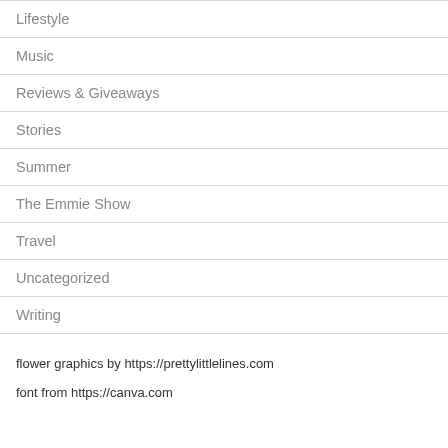Lifestyle
Music
Reviews & Giveaways
Stories
Summer
The Emmie Show
Travel
Uncategorized
Writing
flower graphics by https://prettylittlelines.com
font from https://canva.com